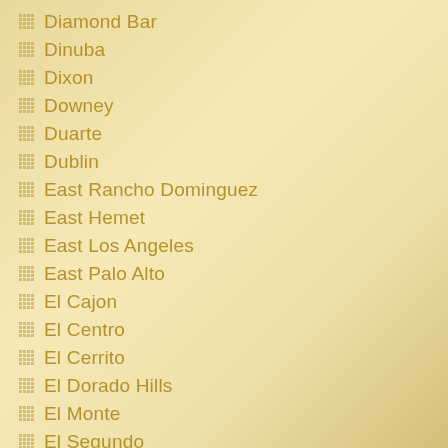Diamond Bar
Dinuba
Dixon
Downey
Duarte
Dublin
East Rancho Dominguez
East Hemet
East Los Angeles
East Palo Alto
El Cajon
El Centro
El Cerrito
El Dorado Hills
El Monte
El Segundo
Elk Grove
Encinitas
Escondido
Fair Oaks
Fairfield